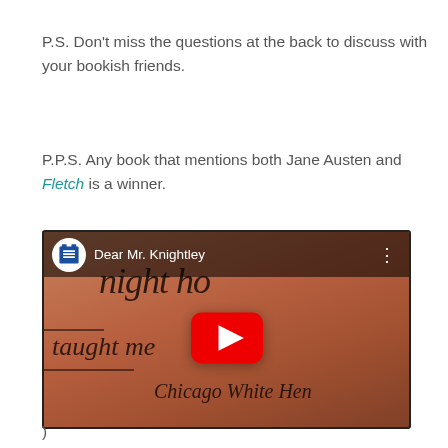P.S. Don’t miss the questions at the back to discuss with your bookish friends.
P.P.S. Any book that mentions both Jane Austen and Fletch is a winner.
[Figure (screenshot): YouTube video thumbnail for 'Dear Mr. Knightley' showing a handwritten letter in cursive script on a salmon/orange background, with a channel icon (blue building logo), video title bar, and red YouTube play button in the center.]
)